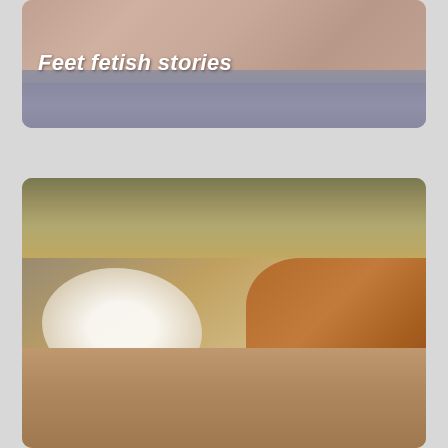[Figure (photo): Partial view of a person's torso with text overlay reading 'Feet fetish stories']
[Figure (photo): Blurry close-up photo of an animal, appearing to be a cat or dog with white and brown fur]